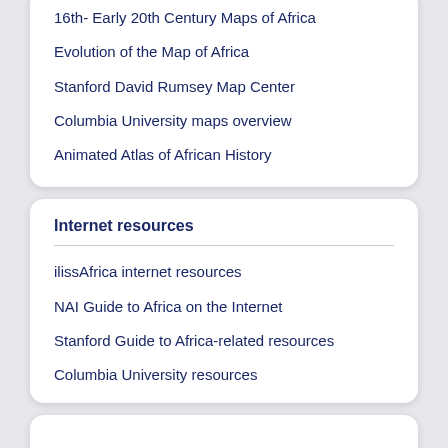16th- Early 20th Century Maps of Africa
Evolution of the Map of Africa
Stanford David Rumsey Map Center
Columbia University maps overview
Animated Atlas of African History
Internet resources
ilissAfrica internet resources
NAI Guide to Africa on the Internet
Stanford Guide to Africa-related resources
Columbia University resources